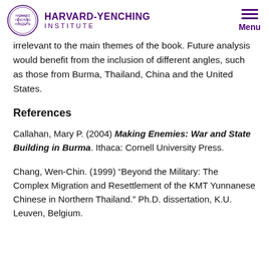HARVARD-YENCHING INSTITUTE | Menu
irrelevant to the main themes of the book. Future analysis would benefit from the inclusion of different angles, such as those from Burma, Thailand, China and the United States.
References
Callahan, Mary P. (2004) Making Enemies: War and State Building in Burma. Ithaca: Cornell University Press.
Chang, Wen-Chin. (1999) “Beyond the Military: The Complex Migration and Resettlement of the KMT Yunnanese Chinese in Northern Thailand.” Ph.D. dissertation, K.U. Leuven, Belgium.